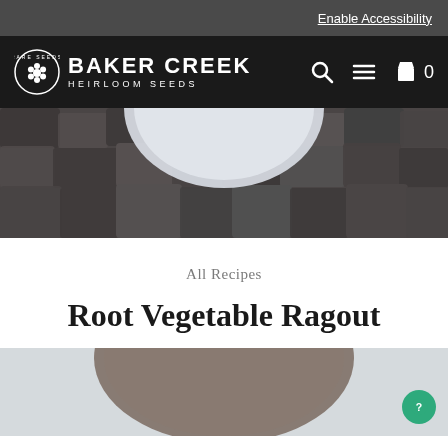Enable Accessibility
[Figure (logo): Baker Creek Heirloom Seeds logo with circular badge and brand name]
[Figure (photo): Close-up photo of dried corn kernels on a cob with a bowl partially visible]
All Recipes
Root Vegetable Ragout
[Figure (photo): Bottom portion of a recipe photo showing a bowl or round dish on a light background]